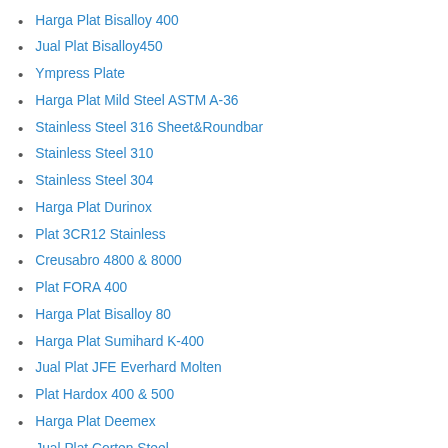Harga Plat Bisalloy 400
Jual Plat Bisalloy450
Ympress Plate
Harga Plat Mild Steel ASTM A-36
Stainless Steel 316 Sheet&Roundbar
Stainless Steel 310
Stainless Steel 304
Harga Plat Durinox
Plat 3CR12 Stainless
Creusabro 4800 & 8000
Plat FORA 400
Harga Plat Bisalloy 80
Harga Plat Sumihard K-400
Jual Plat JFE Everhard Molten
Plat Hardox 400 & 500
Harga Plat Deemex
Jual Plat Corten Steel
Harga Plat SM490